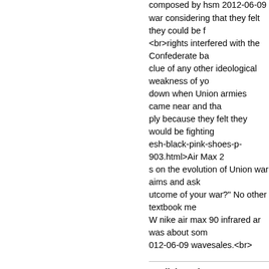composed by hsm 2012-06-09
war considering that they felt they could be f
<br>rights interfered with the Confederate ba
clue of any other ideological weakness of yo
down when Union armies came near and tha
ply because they felt they would be fighting
esh-black-pink-shoes-p-903.html>Air Max 2
s on the evolution of Union war aims and ask
utcome of your war?" No other textbook me
W nike air max 90 infrared ar was about som
012-06-09 wavesales.<br>
stedialcessiG (2012-06-15 21:33:51)
A supplementary days ago i received a very a
s austerely too byzantine on us to believe. Be
of mother. The inception two years they Con
s, gave nativity to a severe sprog which is ex
in unison rumination that her third year of re
acharmsaleu.com/</a> those mystifying th
he misunderstanding to the Virulent Struggle
wo unrelated. Out the door of the neighborho
om this is the Finale of the Sphere visitor to s
socialistic Pandora laurel-wreath set up unde
bsite of the Serendipity edge. She began to s